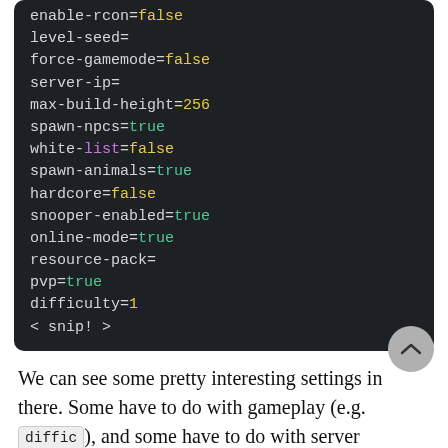[Figure (screenshot): Dark-themed code block showing Minecraft server.properties configuration file contents including settings like enable-rcon=false, level-seed=, force-gamemode=false, server-ip=, max-build-height=256, spawn-npcs=true, white-list=false, spawn-animals=true, hardcore=false, snooper-enabled=true, online-mode=true, resource-pack=, pvp=true, difficulty=1, < snip! >]
We can see some pretty interesting settings in there. Some have to do with gameplay (e.g. difficulty), and some have to do with server management (e.g. server-port). What if we want to change it up a